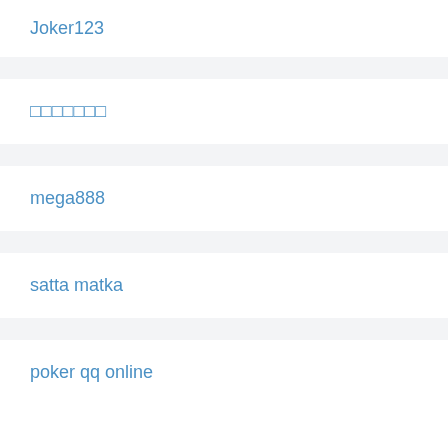Joker123
□□□□□□□
mega888
satta matka
poker qq online